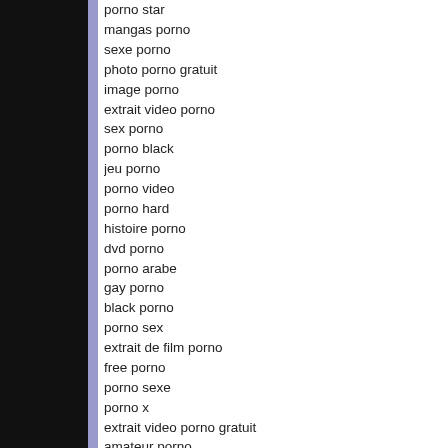porno star
mangas porno
sexe porno
photo porno gratuit
image porno
extrait video porno
sex porno
porno black
jeu porno
porno video
porno hard
histoire porno
dvd porno
porno arabe
gay porno
black porno
porno sex
extrait de film porno
free porno
porno sexe
porno x
extrait video porno gratuit
amateur porno
clip porno